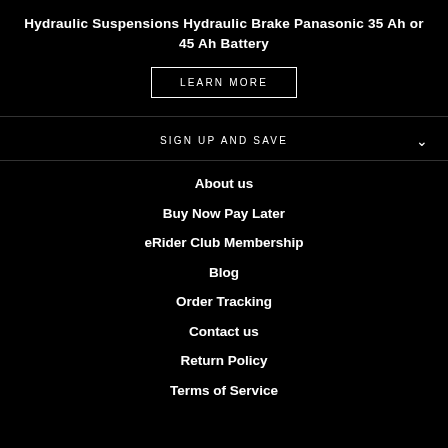Hydraulic Suspensions Hydraulic Brake Panasonic 35 Ah or 45 Ah Battery
LEARN MORE
SIGN UP AND SAVE
About us
Buy Now Pay Later
eRider Club Membership
Blog
Order Tracking
Contact us
Return Policy
Terms of Service